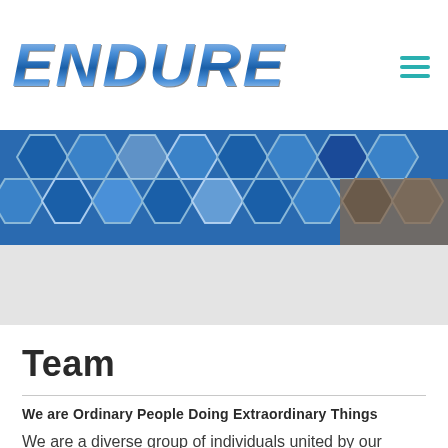ENDURE
[Figure (photo): Blue hexagonal tiled background image with some brownish area on the right, serving as a hero banner image]
Team
We are Ordinary People Doing Extraordinary Things
We are a diverse group of individuals united by our common passion for multisports. We swim, we bike, we run. We train to hone our bodies and spirits, and race to test how far we have